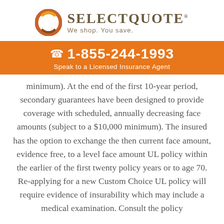[Figure (logo): SelectQuote logo with circular orange/brown icon and text 'SELECTQUOTE We shop. You save.']
☎ 1-855-244-1993
Speak to a Licensed Insurance Agent
minimum). At the end of the first 10-year period, secondary guarantees have been designed to provide coverage with scheduled, annually decreasing face amounts (subject to a $10,000 minimum). The insured has the option to exchange the then current face amount, evidence free, to a level face amount UL policy within the earlier of the first twenty policy years or to age 70. Re-applying for a new Custom Choice UL policy will require evidence of insurability which may include a medical examination. Consult the policy